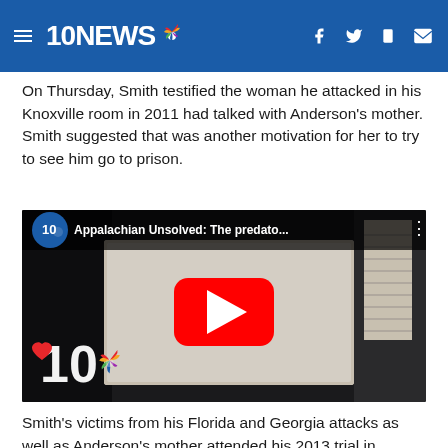10NEWS
On Thursday, Smith testified the woman he attacked in his Knoxville room in 2011 had talked with Anderson's mother. Smith suggested that was another motivation for her to try to see him go to prison.
[Figure (screenshot): YouTube video thumbnail showing '10 NEWS NBC' channel badge, title 'Appalachian Unsolved: The predato...' with a woman smiling and a large red YouTube play button overlay, with 10 NBC logos in the lower left corner]
Smith's victims from his Florida and Georgia attacks as well as Anderson's mother attended his 2013 trial in support of